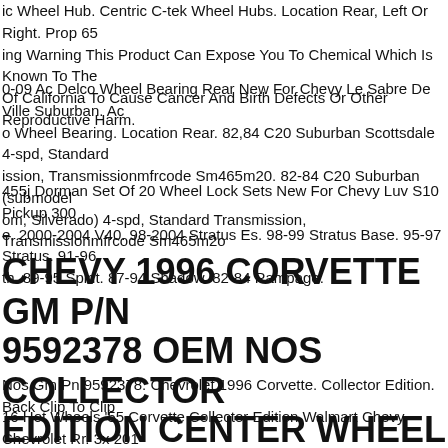ic Wheel Hub. Centric C-tek Wheel Hubs. Location Rear, Left Or Right. Prop 65 ing Warning This Product Can Expose You To Chemical Which Is Known To The Of California To Cause Cancer And Birth Defects Or Other Reproductive Harm.
0-09 Ac Delco Wheel Bearing Rear New For Chevy Le Sabre De Ville Suburban. Ac o Wheel Bearing. Location Rear. 82,84 C20 Suburban Scottsdale 4-spd, Standard ission, Transmissionmfrcode Sm465m20. 82-84 C20 Suburban (submodel om, Silverado) 4-spd, Standard Transmission, Transmissionmfrcode Sm465m20
455j Dorman Set Of 20 Wheel Lock Sets New For Chevy Luv S10 Pickup 300 e. 2000-2004 V40. 98-2004 Stratus Es. 98-99 Stratus Base. 95-97 Stratus. 91-96 th. 89-95 Spirit. 87-94 Shadow. 82-84 Rampage.
CHEVY 1996 CORVETTE GM P/N 9592378 OEM NOS COLLECTOR EDITION CENTER WHEEL CAP
Nos Gm Pn 9592378. Chevrolet 1996 Corvette. Collector Edition. Back Clip To Clip
16 Hot Wheels '55 Corvette Collector Edition Walmart Chevy Chevrolet Rr. 3x 2016 Hot Wheels '55 Corvette Collector Edition Walmart Chevy Chevrolet Rr. ...lot Of 3 Cars A c